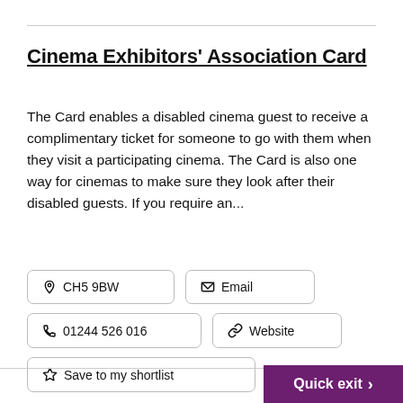Cinema Exhibitors' Association Card
The Card enables a disabled cinema guest to receive a complimentary ticket for someone to go with them when they visit a participating cinema. The Card is also one way for cinemas to make sure they look after their disabled guests. If you require an...
CH5 9BW
Email
01244 526 016
Website
Save to my shortlist
Quick exit >